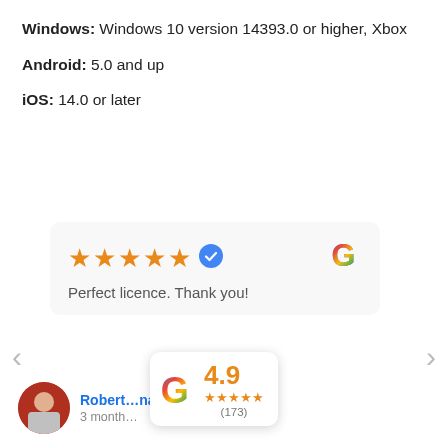Windows: Windows 10 version 14393.0 or higher, Xbox
Android: 5.0 and up
iOS: 14.0 or later
[Figure (screenshot): Google review card showing 5 stars, verified badge, Google logo, and review text 'Perfect licence. Thank you!' with navigation arrows on either side]
Perfect licence. Thank you!
[Figure (infographic): Google rating bubble showing 4.9 rating with 5 stars and (173) reviews, overlaid on reviewer avatar and name 'Robert...nas', '3 month...']